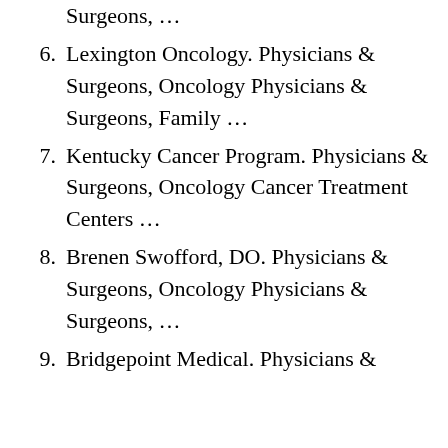Surgeons, …
6. Lexington Oncology. Physicians & Surgeons, Oncology Physicians & Surgeons, Family …
7. Kentucky Cancer Program. Physicians & Surgeons, Oncology Cancer Treatment Centers …
8. Brenen Swofford, DO. Physicians & Surgeons, Oncology Physicians & Surgeons, …
9. Bridgepoint Medical. Physicians & Surgeons, Oncology Physicians &